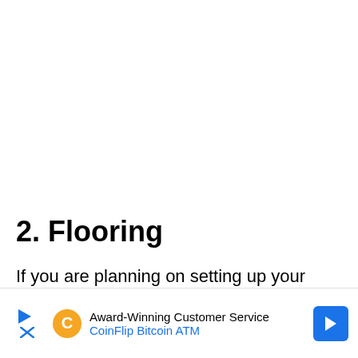2. Flooring
If you are planning on setting up your home boxing gym equipment in the garage, it will most likely have a concrete floor. This can be really damaging on your knees after a while, so make sure you consider buying
[Figure (other): Advertisement banner for CoinFlip Bitcoin ATM with award-winning customer service text, play icon, C logo, and blue directional arrow button]